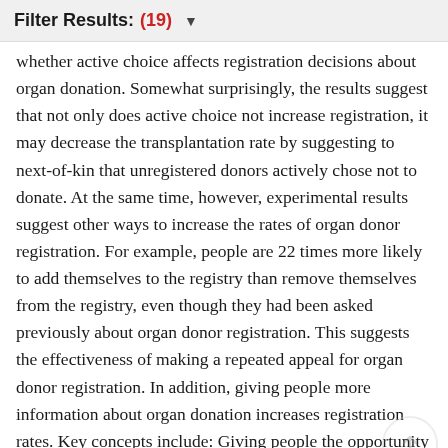Filter Results: (19) ▼
whether active choice affects registration decisions about organ donation. Somewhat surprisingly, the results suggest that not only does active choice not increase registration, it may decrease the transplantation rate by suggesting to next-of-kin that unregistered donors actively chose not to donate. At the same time, however, experimental results suggest other ways to increase the rates of organ donor registration. For example, people are 22 times more likely to add themselves to the registry than remove themselves from the registry, even though they had been asked previously about organ donor registration. This suggests the effectiveness of making a repeated appeal for organ donor registration. In addition, giving people more information about organ donation increases registration rates. Key concepts include: Giving people the opportunity to make an active choice